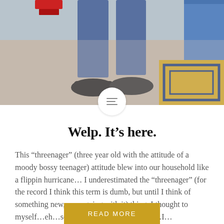[Figure (photo): Photo showing lower body of a child standing on beige carpet wearing blue jeans and black sneakers, with a colorful rug in the bottom right corner and blue shelf visible at top right.]
Welp. It’s here.
This “threenager” (three year old with the attitude of a moody bossy teenager) attitude blew into our household like a flippin hurricane… I underestimated the “threenager” (for the record I think this term is dumb, but until I think of something new, were going with it) thing. I thought to myself…eh…so what if he’s a little bossier…I…